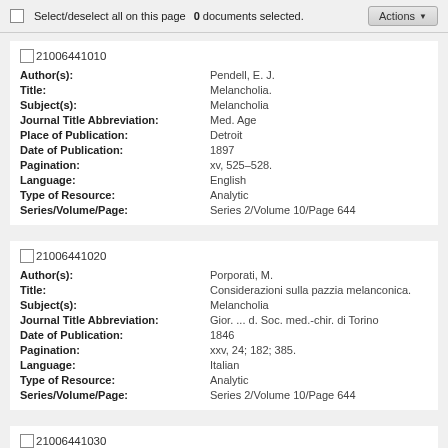Select/deselect all on this page   0 documents selected.   Actions
21006441010
Author(s): Pendell, E. J.
Title: Melancholia.
Subject(s): Melancholia
Journal Title Abbreviation: Med. Age
Place of Publication: Detroit
Date of Publication: 1897
Pagination: xv, 525-528.
Language: English
Type of Resource: Analytic
Series/Volume/Page: Series 2/Volume 10/Page 644
21006441020
Author(s): Porporati, M.
Title: Considerazioni sulla pazzia melanconica.
Subject(s): Melancholia
Journal Title Abbreviation: Gior. ... d. Soc. med.-chir. di Torino
Date of Publication: 1846
Pagination: xxv, 24; 182; 385.
Language: Italian
Type of Resource: Analytic
Series/Volume/Page: Series 2/Volume 10/Page 644
21006441030
Author(s): Purefoy, R. D.
Carton, P. C.
Fitzgerald, W. G.
Title: Melancholia.